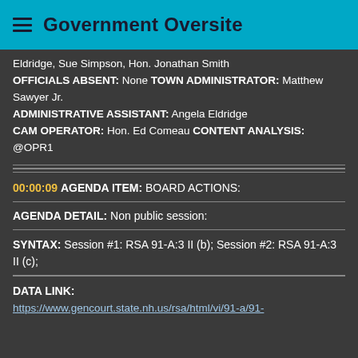Government Oversite
Eldridge, Sue Simpson, Hon. Jonathan Smith OFFICIALS ABSENT: None TOWN ADMINISTRATOR: Matthew Sawyer Jr. ADMINISTRATIVE ASSISTANT: Angela Eldridge CAM OPERATOR: Hon. Ed Comeau CONTENT ANALYSIS: @OPR1
00:00:09 AGENDA ITEM: BOARD ACTIONS:
AGENDA DETAIL: Non public session:
SYNTAX: Session #1: RSA 91-A:3 II (b); Session #2: RSA 91-A:3 II (c);
DATA LINK: https://www.gencourt.state.nh.us/rsa/html/vi/91-a/91-